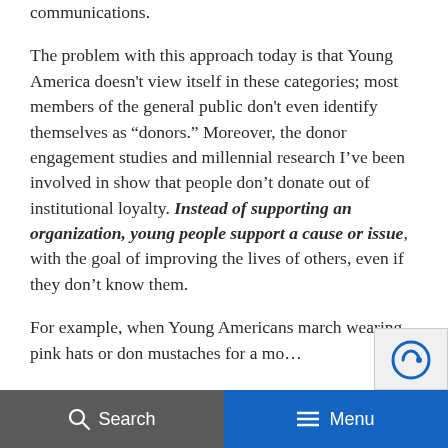communications.
The problem with this approach today is that Young America doesn't view itself in these categories; most members of the general public don't even identify themselves as “donors.” Moreover, the donor engagement studies and millennial research I've been involved in show that people don't donate out of institutional loyalty. Instead of supporting an organization, young people support a cause or issue, with the goal of improving the lives of others, even if they don't know them.
For example, when Young Americans march wearing pink hats or don mustaches for a mo...
Search    Menu